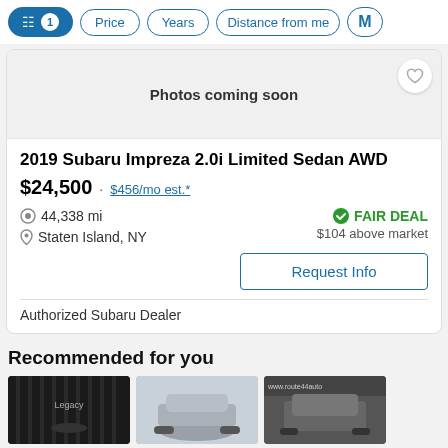Filter controls: (active filter icon with badge 1), Price, Years, Distance from me, M…
[Figure (screenshot): Photo placeholder area with text 'Photos coming soon' and a heart/favorite button]
2019 Subaru Impreza 2.0i Limited Sedan AWD
$24,500 · $456/mo est.*
44,338 mi
Staten Island, NY
FAIR DEAL
$104 above market
Request Info
Authorized Subaru Dealer
Recommended for you
[Figure (photo): Three car thumbnail images side by side]